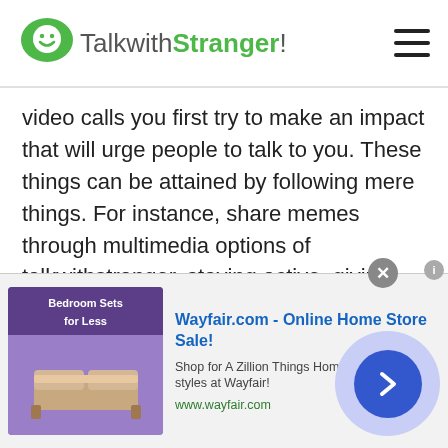TalkwithStranger!
video calls you first try to make an impact that will urge people to talk to you. These things can be attained by following mere things. For instance, share memes through multimedia options of talkwithstranger, staying active, giving advice to the people, and being helpful. These things leave a drastic impact on other people and chat with people of Qatar will be alot more easier and fun. Furthermore, you can also share the latest news or trends that are being followed in your region.
Alongside these, it is also very important for
[Figure (screenshot): Wayfair.com advertisement banner: 'Wayfair.com - Online Home Store Sale! Shop for A Zillion Things Home across all styles at Wayfair! www.wayfair.com' with a bedroom furniture image and a blue arrow button.]